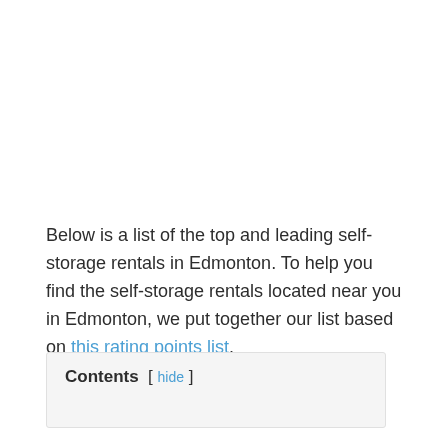Below is a list of the top and leading self-storage rentals in Edmonton. To help you find the self-storage rentals located near you in Edmonton, we put together our list based on this rating points list.
Contents [ hide ]